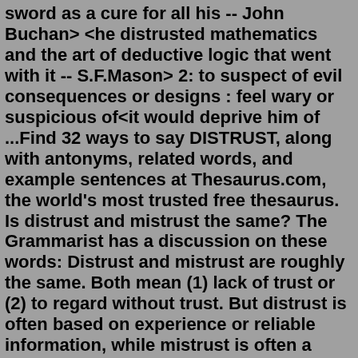sword as a cure for all his -- John Buchan> <he distrusted mathematics and the art of deductive logic that went with it -- S.F.Mason> 2: to suspect of evil consequences or designs : feel wary or suspicious of<it would deprive him of ...Find 32 ways to say DISTRUST, along with antonyms, related words, and example sentences at Thesaurus.com, the world's most trusted free thesaurus. Is distrust and mistrust the same? The Grammarist has a discussion on these words: Distrust and mistrust are roughly the same. Both mean (1) lack of trust or (2) to regard without trust. But distrust is often based on experience or reliable information, while mistrust is often a general sense of unease toward someone or something. Jun 28, 2021 · The Eight Stages of Erikson's Theory are: Stage 1: Trust vs mistrust (0 – 1.5 years old) Stage 2: Autonomy vs. shame (1.5 – 3 years old) Stage 3: Initiative vs. guilt (3 – 5 years old) Stage 4: Industry vs. inferiority (5 – 12 years old) Stage 5: Identity vs. role confusion (12 – 18 years old) distrust vs. mistrust. distrust (not trust (based on experience or reliable